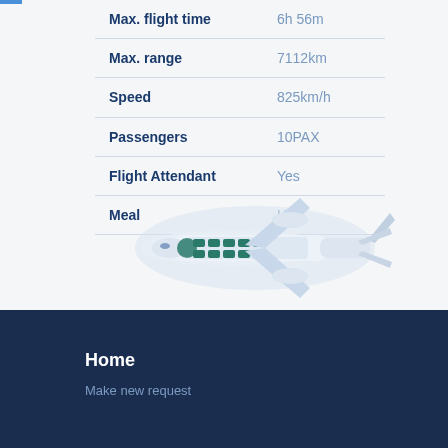| Attribute | Value |
| --- | --- |
| Max. flight time | 6h 56m |
| Max. range | 7112km |
| Speed | 825km/h |
| Passengers | 10PAX |
| Flight Attendant | Yes |
| Meal | Hot |
[Figure (illustration): Top-down cutaway illustration of a private jet aircraft showing cabin seating layout with teal/green seats arrangement, white fuselage, engines, wings and tail fin visible from above]
Home
Make new request